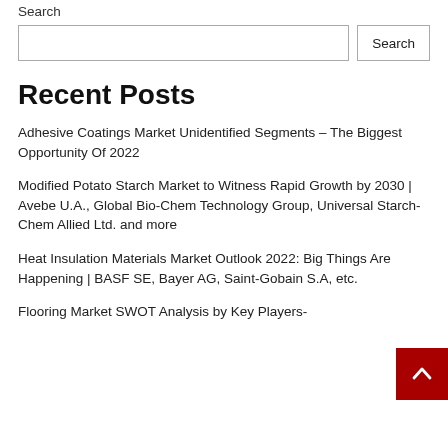Search
Search input and button
Recent Posts
Adhesive Coatings Market Unidentified Segments – The Biggest Opportunity Of 2022
Modified Potato Starch Market to Witness Rapid Growth by 2030 | Avebe U.A., Global Bio-Chem Technology Group, Universal Starch-Chem Allied Ltd. and more
Heat Insulation Materials Market Outlook 2022: Big Things Are Happening | BASF SE, Bayer AG, Saint-Gobain S.A, etc.
Flooring Market SWOT Analysis by Key Players-